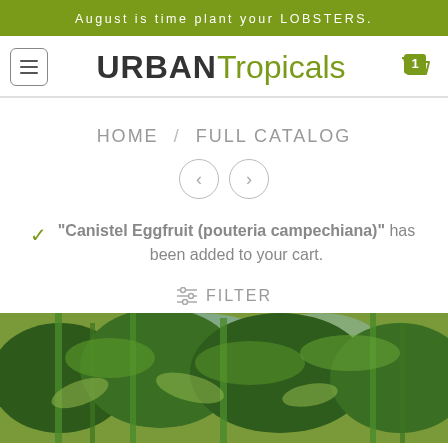August is time plant your LOBSTERS.
[Figure (logo): Urban Tropicals logo with hamburger menu icon on left and shopping cart with item count 1 on right]
HOME / FULL CATALOG
"Canistel Eggfruit (pouteria campechiana)" has been added to your cart.
FILTER
[Figure (photo): Close-up photo of tropical plant foliage with green leaves and stems against a sky background]